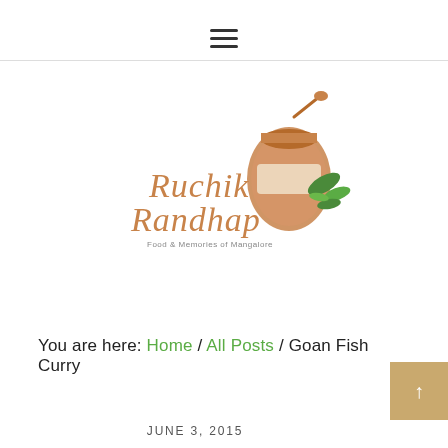☰ (hamburger menu icon)
[Figure (logo): Ruchik Randhap blog logo — cursive orange text reading 'Ruchik Randhap' with subtitle 'Food & Memories of Mangalore' and watercolor illustration of a spice jar with herbs]
You are here: Home / All Posts / Goan Fish Curry
JUNE 3, 2015